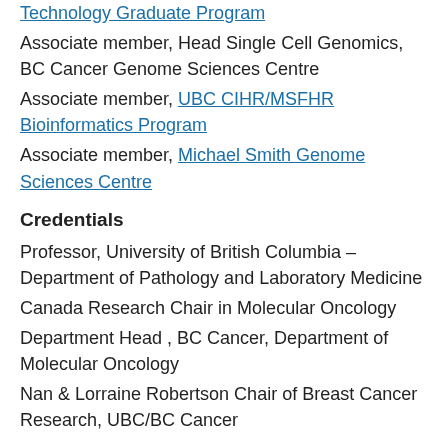Technology Graduate Program
Associate member, Head Single Cell Genomics, BC Cancer Genome Sciences Centre
Associate member, UBC CIHR/MSFHR Bioinformatics Program
Associate member, Michael Smith Genome Sciences Centre
Credentials
Professor, University of British Columbia – Department of Pathology and Laboratory Medicine
Canada Research Chair in Molecular Oncology
Department Head , BC Cancer, Department of Molecular Oncology
Nan & Lorraine Robertson Chair of Breast Cancer Research, UBC/BC Cancer